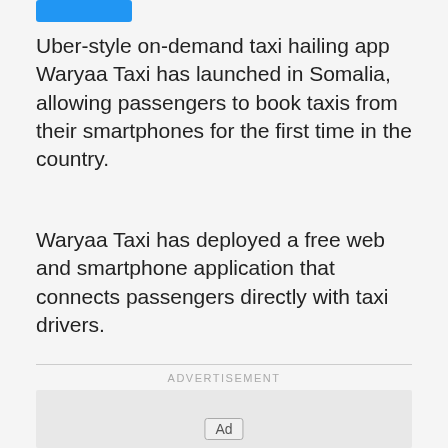[Figure (other): Blue button/badge at top left]
Uber-style on-demand taxi hailing app Waryaa Taxi has launched in Somalia, allowing passengers to book taxis from their smartphones for the first time in the country.
Waryaa Taxi has deployed a free web and smartphone application that connects passengers directly with taxi drivers.
ADVERTISEMENT
[Figure (other): Advertisement placeholder box with Ad label at bottom center]